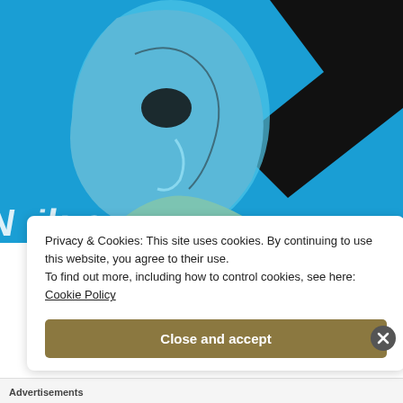[Figure (illustration): Digital illustration of a blue-toned stylized human face in profile (side view), looking downward, with black angular chevron/arrow shapes in the upper right background. Text lettering partially visible at the bottom of the illustration (appears to read 'Nike' or similar). Bright cyan/blue background.]
Privacy & Cookies: This site uses cookies. By continuing to use this website, you agree to their use.
To find out more, including how to control cookies, see here:
Cookie Policy
Close and accept
Advertisements